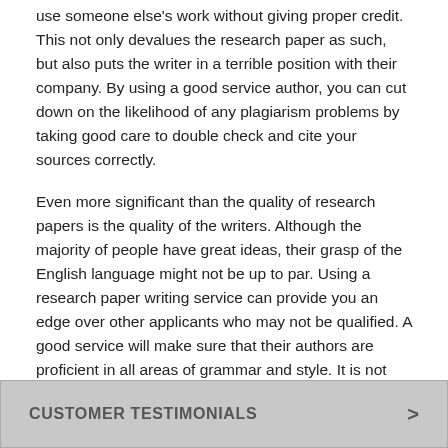use someone else's work without giving proper credit. This not only devalues the research paper as such, but also puts the writer in a terrible position with their company. By using a good service author, you can cut down on the likelihood of any plagiarism problems by taking good care to double check and cite your sources correctly.
Even more significant than the quality of research papers is the quality of the writers. Although the majority of people have great ideas, their grasp of the English language might not be up to par. Using a research paper writing service can provide you an edge over other applicants who may not be qualified. A good service will make sure that their authors are proficient in all areas of grammar and style. It is not unusual for good solutions to give editing and proofreading on these documents for their clients.
CUSTOMER TESTIMONIALS